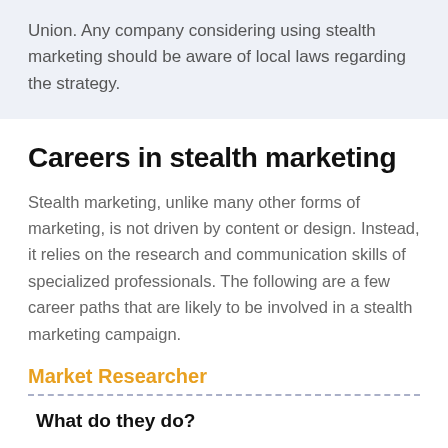Union. Any company considering using stealth marketing should be aware of local laws regarding the strategy.
Careers in stealth marketing
Stealth marketing, unlike many other forms of marketing, is not driven by content or design. Instead, it relies on the research and communication skills of specialized professionals. The following are a few career paths that are likely to be involved in a stealth marketing campaign.
Market Researcher
What do they do?